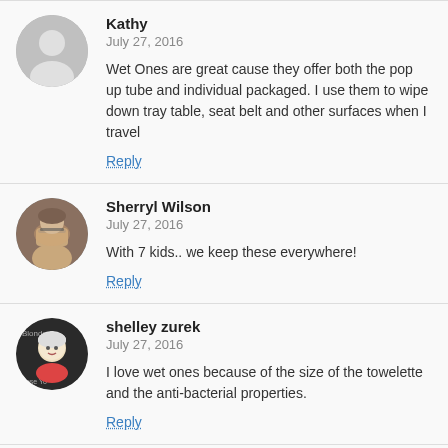Kathy
July 27, 2016
Wet Ones are great cause they offer both the pop up tube and individual packaged. I use them to wipe down tray table, seat belt and other surfaces when I travel
Reply
Sherryl Wilson
July 27, 2016
With 7 kids.. we keep these everywhere!
Reply
shelley zurek
July 27, 2016
I love wet ones because of the size of the towelette and the anti-bacterial properties.
Reply